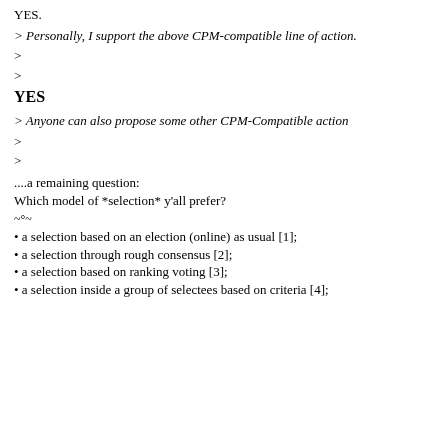YES.
> Personally, I support the above CPM-compatible line of action.
>
>
YES
> Anyone can also propose some other CPM-Compatible action
>
>
....a remaining question:
Which model of *selection* y'all prefer?
~°~
• a selection based on an election (online) as usual [1];
• a selection through rough consensus [2];
• a selection based on ranking voting [3];
• a selection inside a group of selectees based on criteria [4];